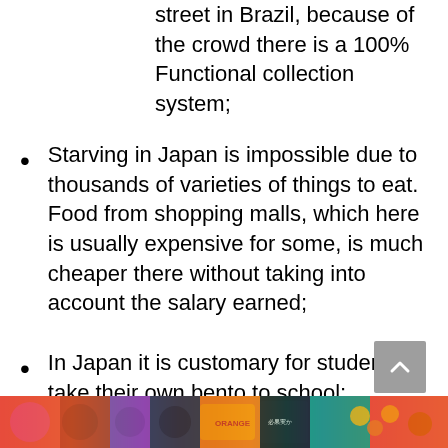street in Brazil, because of the crowd there is a 100% Functional collection system;
Starving in Japan is impossible due to thousands of varieties of things to eat. Food from shopping malls, which here is usually expensive for some, is much cheaper there without taking into account the salary earned;
In Japan it is customary for students to take their own bento to school;
[Figure (photo): Colorful food items including fruits, candies and Japanese snack packages visible at the bottom of the page]